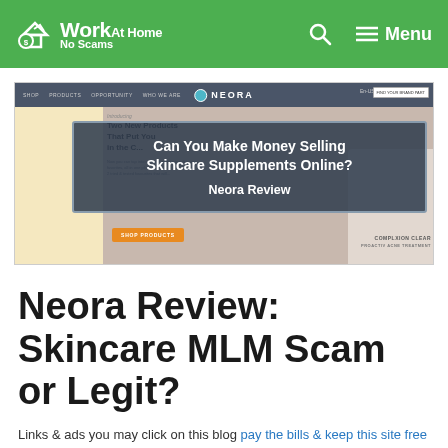Work At Home No Scams — Menu
[Figure (screenshot): Screenshot of the Neora website homepage showing navigation bar with SHOP, PRODUCTS, OPPORTUNITY, WHO WE ARE links, Neora logo, and a hero section with two panels. An overlaid dark box displays text: 'Can You Make Money Selling Skincare Supplements Online? Neora Review']
Neora Review: Skincare MLM Scam or Legit?
Links & ads you may click on this blog pay the bills & keep this site free for